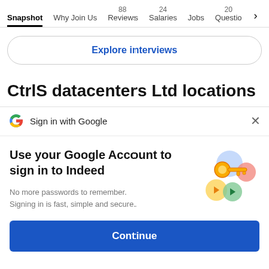Snapshot | Why Join Us | 88 Reviews | 24 Salaries | Jobs | 20 Questio >
Explore interviews
CtrlS datacenters Ltd locations
Sign in with Google
Use your Google Account to sign in to Indeed
No more passwords to remember. Signing in is fast, simple and secure.
[Figure (illustration): Google account key illustration with colorful circles and a golden key]
Continue